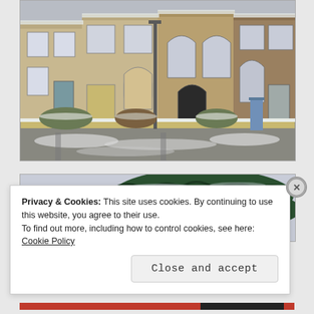[Figure (photo): A row of Victorian terraced stone houses in winter with snow on the ground. The street in front is covered in slush and snow. The buildings are made of tan/brown stone with arched windows and doors.]
[Figure (photo): Partial view of a snow-covered evergreen tree (monkey puzzle or similar conifer) against a grey winter sky.]
Privacy & Cookies: This site uses cookies. By continuing to use this website, you agree to their use.
To find out more, including how to control cookies, see here: Cookie Policy
Close and accept